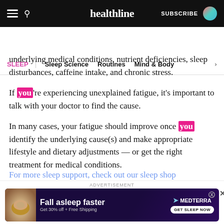healthline — SUBSCRIBE
SLEEP | Sleep Science | Routines | Mind & Body
underlying medical conditions, nutrient deficiencies, sleep disturbances, caffeine intake, and chronic stress.
If you're experiencing unexplained fatigue, it's important to talk with your doctor to find the cause.
In many cases, your fatigue should improve once you identify the underlying cause(s) and make appropriate lifestyle and dietary adjustments — or get the right treatment for medical conditions.
For more sleep support, check out our sleep shop
[Figure (screenshot): Advertisement banner for Medterra sleep product: 'Fall asleep faster — Get 30% off + Free Shipping — GET SLEEP NOW']